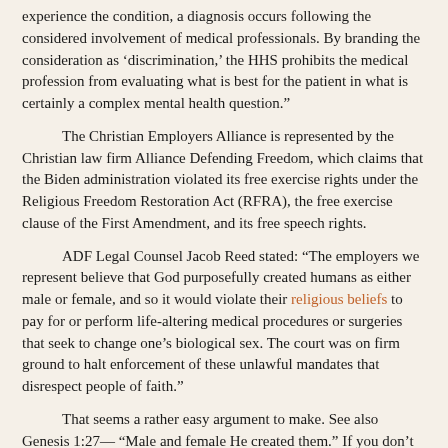experience the condition, a diagnosis occurs following the considered involvement of medical professionals. By branding the consideration as 'discrimination,' the HHS prohibits the medical profession from evaluating what is best for the patient in what is certainly a complex mental health question."
The Christian Employers Alliance is represented by the Christian law firm Alliance Defending Freedom, which claims that the Biden administration violated its free exercise rights under the Religious Freedom Restoration Act (RFRA), the free exercise clause of the First Amendment, and its free speech rights.
ADF Legal Counsel Jacob Reed stated: "The employers we represent believe that God purposefully created humans as either male or female, and so it would violate their religious beliefs to pay for or perform life-altering medical procedures or surgeries that seek to change one’s biological sex. The court was on firm ground to halt enforcement of these unlawful mandates that disrespect people of faith."
That seems a rather easy argument to make. See also Genesis 1:27— “Male and female He created them.” If you don’t believe in God, it is still irrefutable that we wouldn’t be here as advanced mammals if it weren’t for sexual dimorphism…the existence of two sexes and the clear distinction between males and